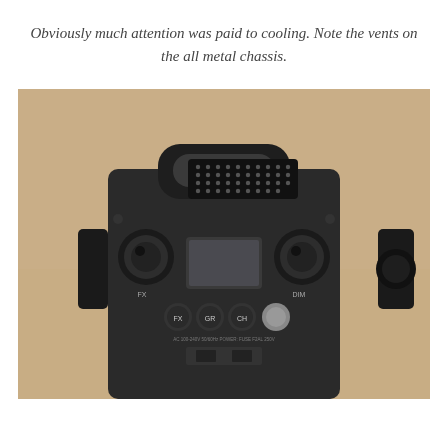Obviously much attention was paid to cooling. Note the vents on the all metal chassis.
[Figure (photo): Top-down view of a black metal lighting fixture/device showing ventilation holes (perforated grille), a handle, two rotary knobs labelled FX and DIM, a small LCD screen, and buttons labelled FX, GR, CH on the control panel.]